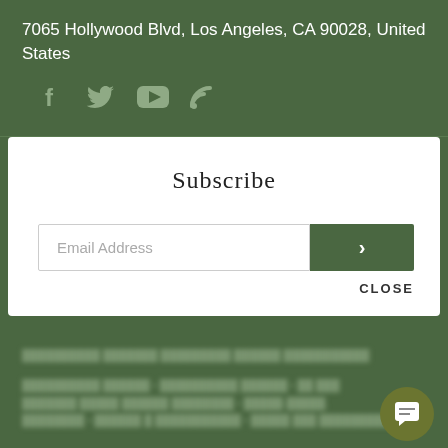7065 Hollywood Blvd, Los Angeles, CA 90028, United States
[Figure (illustration): Social media icons: Facebook, Twitter, YouTube, RSS feed]
Subscribe
Email Address [input field with submit arrow button]
CLOSE
Redacted footer line 1 (blurred text)
Redacted footer line 2 (blurred text with bullet separators)